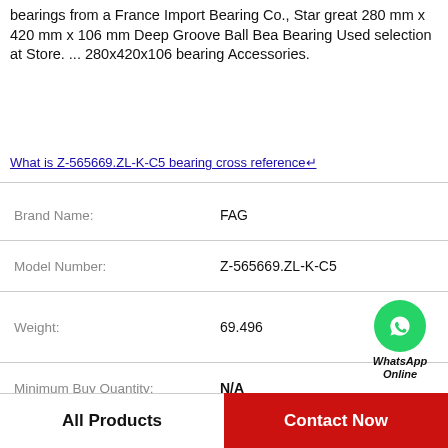bearings from a France Import Bearing Co., Star great 280 mm x 420 mm x 106 mm Deep Groove Ball Bea Bearing Used selection at Store. ... 280x420x106 bearing Accessories.
What is Z-565669.ZL-K-C5 bearing cross reference↵
| Field | Value |
| --- | --- |
| Brand Name: | FAG |
| Model Number: | Z-565669.ZL-K-C5 |
| Weight: | 69.496 |
| Minimum Buy Quantity: | N/A |
| Category: | Tapered Roller Beari |
| Brand: | TIMKEN |
| Assembly Number: | 90037 |
[Figure (logo): WhatsApp Online green circle phone icon with WhatsApp Online text]
All Products
Contact Now